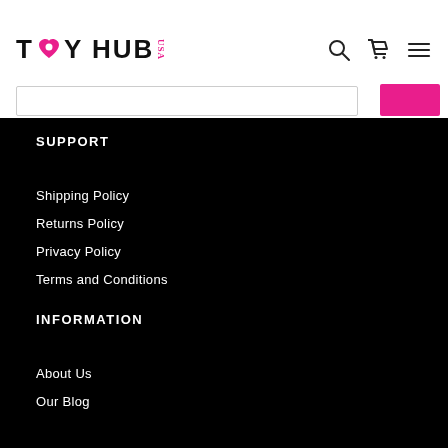TOY HUB USA
SUPPORT
Shipping Policy
Returns Policy
Privacy Policy
Terms and Conditions
INFORMATION
About Us
Our Blog